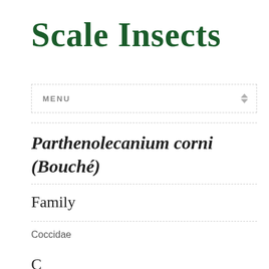Scale Insects
MENU
Parthenolecanium corni (Bouché)
Family
Coccidae
C